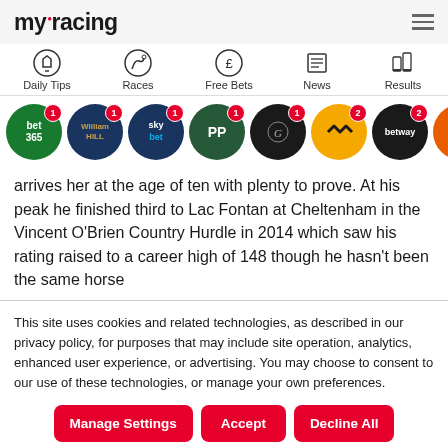myracing
[Figure (screenshot): Navigation icons for Daily Tips, Races, Free Bets, News, Results]
[Figure (screenshot): Bookmaker circular logos row: Bet365 (1), William Hill (1), Sky Bet (1), PP (1), GS (1), Betfair (2), Betway (2), 888 (2)]
arrives her at the age of ten with plenty to prove. At his peak he finished third to Lac Fontan at Cheltenham in the Vincent O'Brien Country Hurdle in 2014 which saw his rating raised to a career high of 148 though he hasn't been the same horse
This site uses cookies and related technologies, as described in our privacy policy, for purposes that may include site operation, analytics, enhanced user experience, or advertising. You may choose to consent to our use of these technologies, or manage your own preferences.
Manage Settings
Accept
Decline All